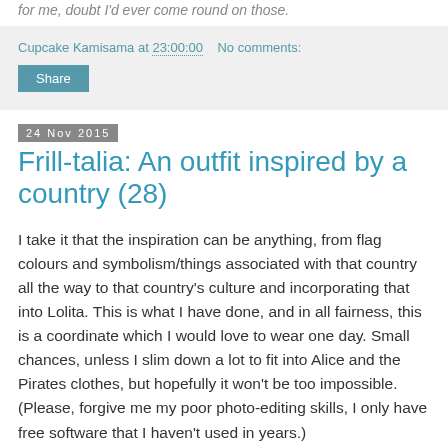for me, doubt I'd ever come round on those.
Cupcake Kamisama at 23:00:00   No comments:
Share
24 Nov 2015
Frill-talia: An outfit inspired by a country (28)
I take it that the inspiration can be anything, from flag colours and symbolism/things associated with that country all the way to that country's culture and incorporating that into Lolita. This is what I have done, and in all fairness, this is a coordinate which I would love to wear one day. Small chances, unless I slim down a lot to fit into Alice and the Pirates clothes, but hopefully it won't be too impossible. (Please, forgive me my poor photo-editing skills, I only have free software that I haven't used in years.)